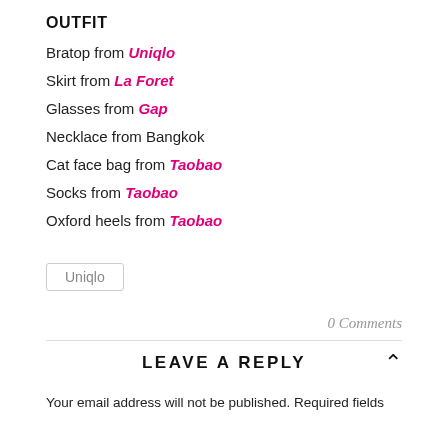OUTFIT
Bratop from Uniqlo
Skirt from La Foret
Glasses from Gap
Necklace from Bangkok
Cat face bag from Taobao
Socks from Taobao
Oxford heels from Taobao
Uniqlo
0 Comments
LEAVE A REPLY
Your email address will not be published. Required fields